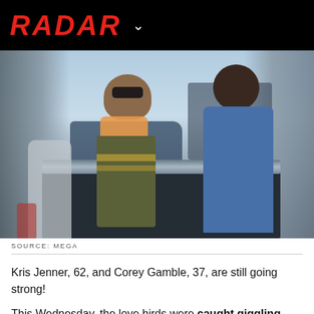RADAR
[Figure (photo): Two people standing near a dark luxury car. A woman wearing sunglasses and an orange scarf with a patterned top, and a man in a blue polo shirt.]
SOURCE: MEGA
Kris Jenner, 62, and Corey Gamble, 37, are still going strong!
This Wednesday, the love birds were caught giggling and